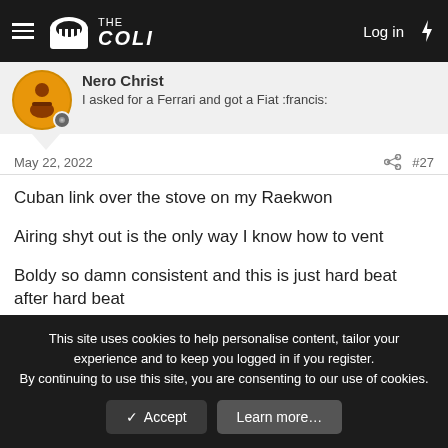THE COLI — Log in
Nero Christ
I asked for a Ferrari and got a Fiat :francis:
May 22, 2022  #27
Cuban link over the stove on my Raekwon
Airing shyt out is the only way I know how to vent
Boldy so damn consistent and this is just hard beat after hard beat
[Figure (photo): Circular avatar photo of a man's face, side profile]
This site uses cookies to help personalise content, tailor your experience and to keep you logged in if you register.
By continuing to use this site, you are consenting to our use of cookies.